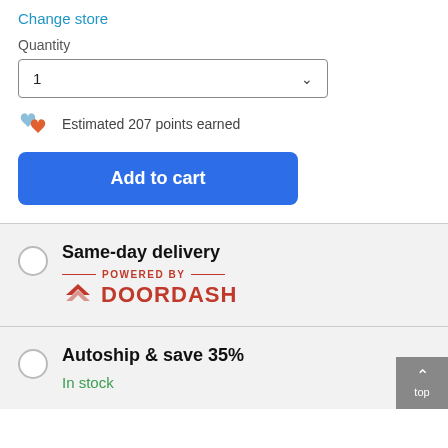Change store
Quantity
1
Estimated 207 points earned
Add to cart
Same-day delivery
[Figure (logo): DoorDash logo with POWERED BY text and red chevron icon]
Autoship & save 35%
In stock